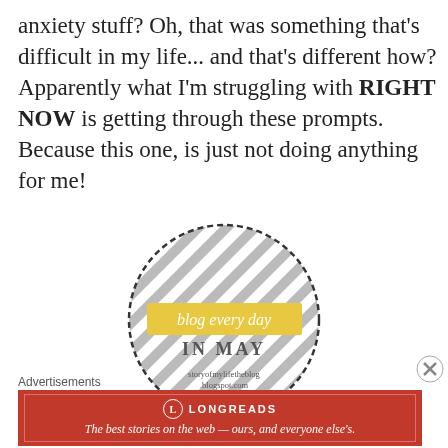anxiety stuff? Oh, that was something that's difficult in my life... and that's different how? Apparently what I'm struggling with RIGHT NOW is getting through these prompts. Because this one, is just not doing anything for me!
[Figure (logo): Circular badge with diagonal gray and white stripes, dashed border, yellow ribbon banner reading 'blog every day', text 'IN MAY' below, and 'storyofmylifetheblog.blogspot.com' at the bottom.]
Advertisements
[Figure (screenshot): Red advertisement banner for Longreads. Logo circle with 'L', brand name 'LONGREADS', tagline 'The best stories on the web — ours, and everyone else's.' on red background with border.]